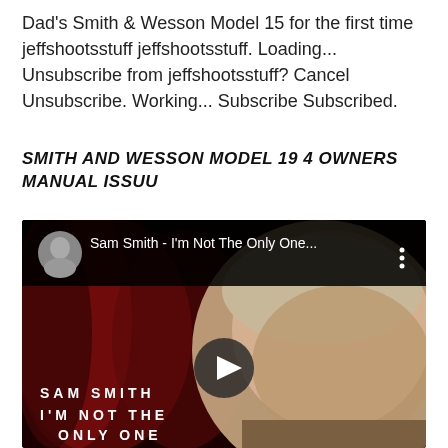Dad's Smith & Wesson Model 15 for the first time jeffshootsstuff jeffshootsstuff. Loading... Unsubscribe from jeffshootsstuff? Cancel Unsubscribe. Working... Subscribe Subscribed.
SMITH AND WESSON MODEL 19 4 OWNERS MANUAL ISSUU
[Figure (screenshot): YouTube video thumbnail for Sam Smith - I'm Not The Only One, showing Sam Smith's face against a dark red curtain background with play button overlay and text SAM SMITH / I'M NOT THE ONLY ONE]